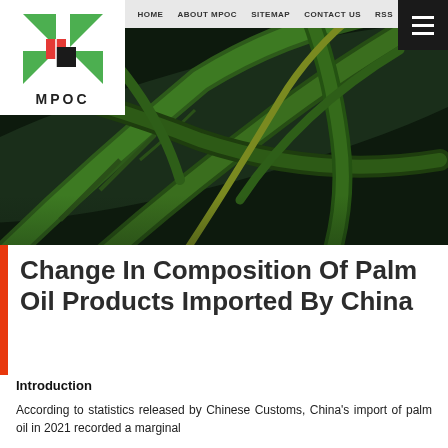HOME  ABOUT MPOC  SITEMAP  CONTACT US  RSS
[Figure (photo): Close-up photo of dark green tropical palm leaves on a dark background, used as hero banner image]
Change In Composition Of Palm Oil Products Imported By China
Introduction
According to statistics released by Chinese Customs, China's import of palm oil in 2021 recorded a marginal